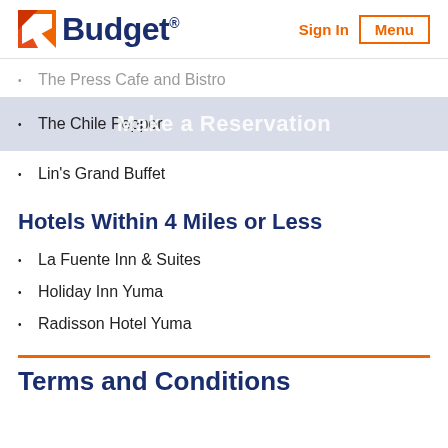Budget | Sign In | Menu
The Press Cafe and Bistro
The Chile Pepper
Lin's Grand Buffet
Hotels Within 4 Miles or Less
La Fuente Inn & Suites
Holiday Inn Yuma
Radisson Hotel Yuma
Terms and Conditions